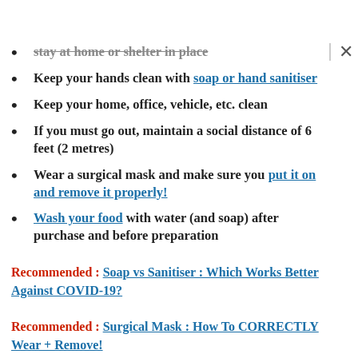Stay at home or shelter in place
Keep your hands clean with soap or hand sanitiser
Keep your home, office, vehicle, etc. clean
If you must go out, maintain a social distance of 6 feet (2 metres)
Wear a surgical mask and make sure you put it on and remove it properly!
Wash your food with water (and soap) after purchase and before preparation
Recommended : Soap vs Sanitiser : Which Works Better Against COVID-19?
Recommended : Surgical Mask : How To CORRECTLY Wear + Remove!